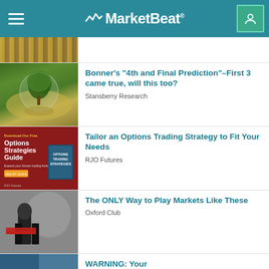MarketBeat
[Figure (photo): Partial view of stacked coins or financial imagery at top]
Bonner’s “4th and Final Prediction”–First 3 came true, will this too?
Stansberry Research
[Figure (photo): Options Strategies Guide book cover on red background]
Tailor an Options Trading Strategy to Fit Your Needs
RJO Futures
[Figure (photo): Man in suit holding a red cape like a matador, on gray background]
The ONLY Way to Play Markets Like These
Oxford Club
[Figure (photo): Partial article image at bottom]
WARNING: Your